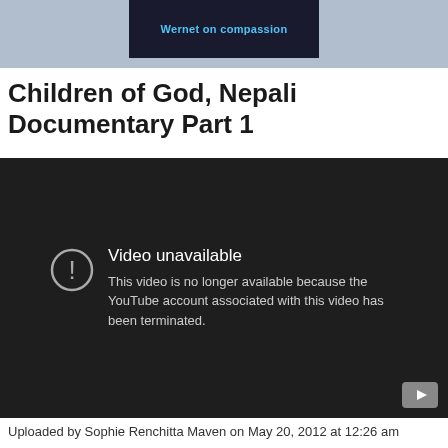[Figure (screenshot): Top banner with blue-gray background showing a partial video thumbnail with text 'Wernet on compassion' in blue text on dark background]
Children of God, Nepali Documentary Part 1
[Figure (screenshot): YouTube video player showing 'Video unavailable' error message with warning icon and text: 'This video is no longer available because the YouTube account associated with this video has been terminated.']
Uploaded by Sophie Renchitta Maven on May 20, 2012 at 12:26 am